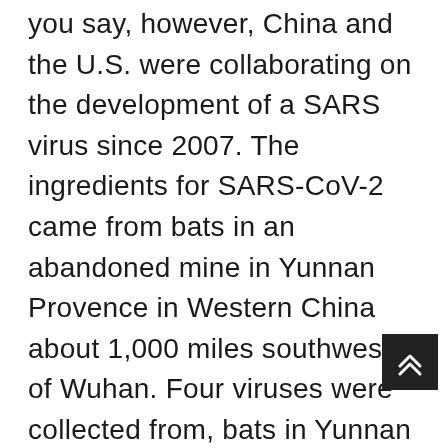you say, however, China and the U.S. were collaborating on the development of a SARS virus since 2007. The ingredients for SARS-CoV-2 came from bats in an abandoned mine in Yunnan Provence in Western China about 1,000 miles southwest of Wuhan. Four viruses were collected from, bats in Yunnan province, each of which had a segment of nucleotides that would eventually end up in SARS-CoV-2. The best explanation for this is genetic engineering where the four virus genomes were recombined in a lab to produce SARS-CoV-2, complete with it's ability to bind to the human ACE-2 receptors and thus gain easy access to human cells. China had to know about